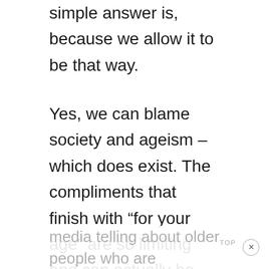simple answer is, because we allow it to be that way.
Yes, we can blame society and ageism – which does exist. The compliments that finish with “for your age” are so limiting and can actually be insulting. Age has nothing to do with our achievements! We have control of how we are perceived and how we want to be defined.
Many stories are shared through social media telling about older people who are